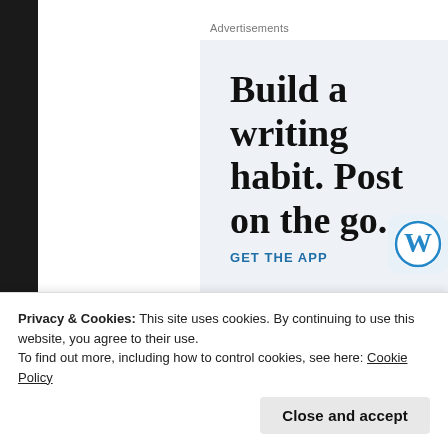Advertisements
[Figure (screenshot): WordPress app advertisement with light blue background. Large serif text reads 'Build a writing habit. Post on the go.' with a blue 'GET THE APP' call-to-action link and the WordPress 'W' logo icon on the right.]
Share this:
Privacy & Cookies: This site uses cookies. By continuing to use this website, you agree to their use.
To find out more, including how to control cookies, see here: Cookie Policy
Close and accept